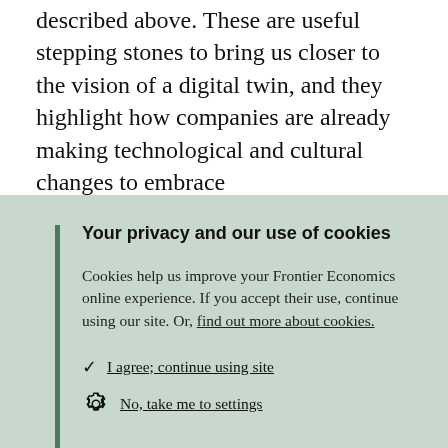described above. These are useful stepping stones to bring us closer to the vision of a digital twin, and they highlight how companies are already making technological and cultural changes to embrace
Your privacy and our use of cookies
Cookies help us improve your Frontier Economics online experience. If you accept their use, continue using our site. Or, find out more about cookies.
✓ I agree; continue using site
⚙ No, take me to settings